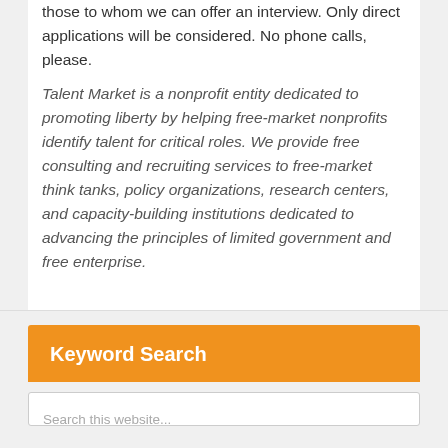those to whom we can offer an interview. Only direct applications will be considered. No phone calls, please.
Talent Market is a nonprofit entity dedicated to promoting liberty by helping free-market nonprofits identify talent for critical roles. We provide free consulting and recruiting services to free-market think tanks, policy organizations, research centers, and capacity-building institutions dedicated to advancing the principles of limited government and free enterprise.
Keyword Search